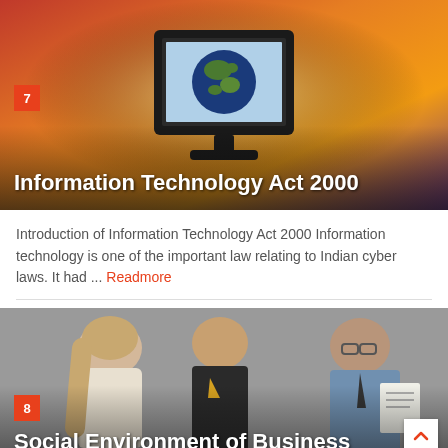[Figure (photo): Computer monitor displaying a globe on screen, against a warm orange/yellow gradient background. Number badge '7' in red/orange square.]
Information Technology Act 2000
Introduction of Information Technology Act 2000 Information technology is one of the important law relating to Indian cyber laws. It had ... Readmore
[Figure (photo): Three business people in a meeting, reviewing a document. Number badge '8' in red/orange square.]
Social Environment of Business